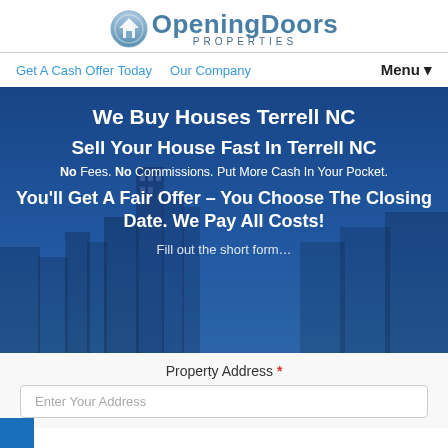[Figure (logo): Opening Doors Properties logo with house icon and stylized text]
Get A Cash Offer Today   Our Company   Menu▾
We Buy Houses Terrell NC
Sell Your House Fast In Terrell NC
No Fees. No Commissions. Put More Cash In Your Pocket.
You'll Get A Fair Offer – You Choose The Closing Date. We Pay All Costs!
Fill out the short form…
Property Address *
Enter Your Address